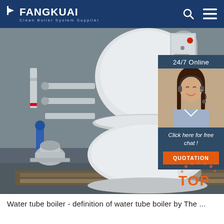FANGKUAI — Clean Boiler System Supplier
[Figure (photo): Industrial water tube boiler installed in a facility, showing a large white cylindrical boiler vessel with pipes and valves. Sidebar overlay shows a customer service representative with headset, '24/7 Online' text, 'Click here for free chat!' text, and an orange QUOTATION button. A TOP badge with dot decoration appears at bottom right.]
Water tube boiler - definition of water tube boiler by The ...